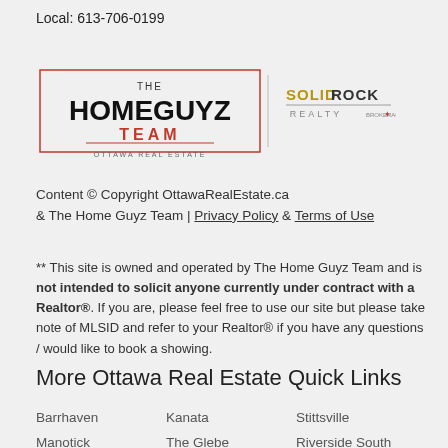Local: 613-706-0199
[Figure (logo): The Home Guyz Team Ottawa Real Estate logo alongside Solid Rock Realty logo]
Content © Copyright OttawaRealEstate.ca & The Home Guyz Team | Privacy Policy & Terms of Use
** This site is owned and operated by The Home Guyz Team and is not intended to solicit anyone currently under contract with a Realtor®. If you are, please feel free to use our site but please take note of MLSID and refer to your Realtor® if you have any questions / would like to book a showing.
More Ottawa Real Estate Quick Links
Barrhaven
Kanata
Stittsville
Manotick
The Glebe
Riverside South
Orleans
South Ottawa
Findlay Creek